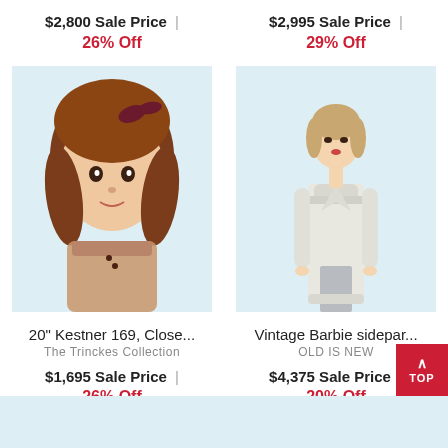$2,800 Sale Price |
$2,995 Sale Price |
26% Off
29% Off
[Figure (photo): Antique porcelain doll with auburn curly hair and pink bow, wearing a floral dress, close-up portrait style on light blue background]
[Figure (photo): Vintage Barbie doll with side-parted blonde hair wearing a long white fur coat over a gray gown, full figure on white background]
20" Kestner 169, Close...
Vintage Barbie sidepar...
The Trinckes Collection
OLD IS NEW
$1,695 Sale Price |
$4,375 Sale Price |
26% Off
20% Off
[Figure (photo): Partial view of another doll item at bottom of page, light blue background]
[Figure (photo): Partial view of another doll item at bottom of page, light blue background]